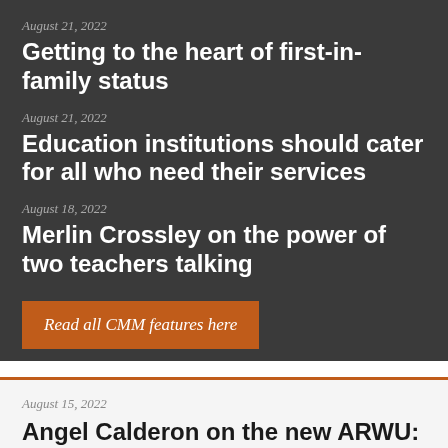August 21, 2022
Getting to the heart of first-in-family status
August 21, 2022
Education institutions should cater for all who need their services
August 18, 2022
Merlin Crossley on the power of two teachers talking
Read all CMM features here
August 15, 2022
Angel Calderon on the new ARWU: another good year for Australia (but…)